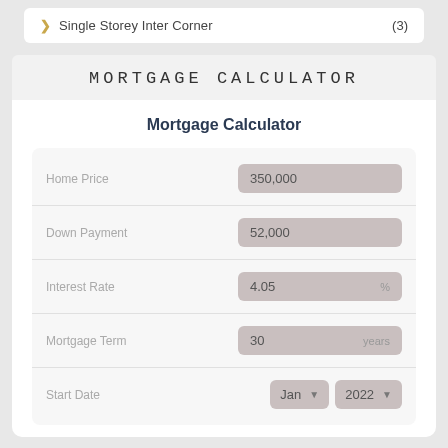Single Storey Inter Corner (3)
MORTGAGE CALCULATOR
Mortgage Calculator
Home Price: 350,000
Down Payment: 52,000
Interest Rate: 4.05 %
Mortgage Term: 30 years
Start Date: Jan 2022